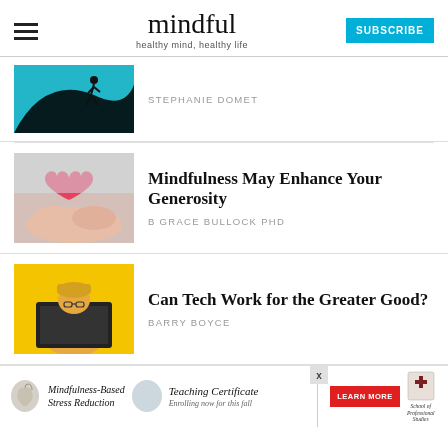mindful — healthy mind, healthy life — SUBSCRIBE
[Figure (photo): Teal background image with silhouette of a running person and a curved black shape]
STEPHANIE DOMET
[Figure (photo): Hands holding a pink heart shape on a light background]
Mindfulness May Enhance Your Generosity
B GRACE BULLOCK PHD
[Figure (photo): Person in yellow background holding a laptop open in front of their face]
Can Tech Work for the Greater Good?
BARRY BOYCE
[Figure (photo): Advertisement banner: Mindfulness-Based Stress Reduction Teaching Certificate — Enrolling now for this fall — LEARN MORE — School of Professional Studies]